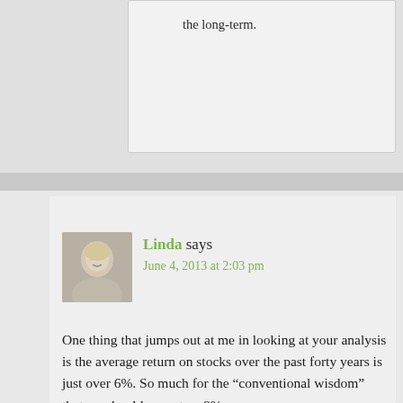the long-term.
Linda says
June 4, 2013 at 2:03 pm
One thing that jumps out at me in looking at your analysis is the average return on stocks over the past forty years is just over 6%. So much for the “conventional wisdom” that we should expect an 8%